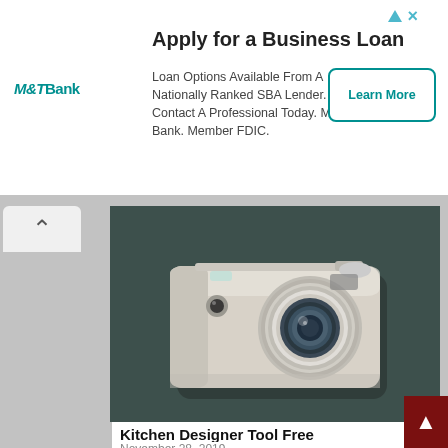[Figure (screenshot): M&T Bank advertisement banner with title 'Apply for a Business Loan', body text about SBA lending, and a 'Learn More' button. Includes M&T Bank logo and ad icons top right.]
[Figure (photo): Blurred digital compact camera on dark teal/grey background]
Kitchen Designer Tool Free
November 28, 2019
[Figure (photo): Partial dark teal/grey image at bottom of page (second card, cut off)]